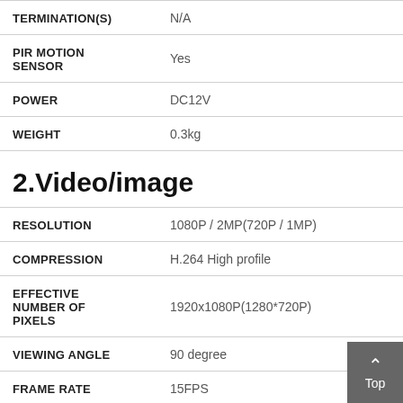| Specification | Value |
| --- | --- |
| TERMINATION(S) | N/A |
| PIR MOTION SENSOR | Yes |
| POWER | DC12V |
| WEIGHT | 0.3kg |
2.Video/image
| Specification | Value |
| --- | --- |
| RESOLUTION | 1080P / 2MP(720P / 1MP) |
| COMPRESSION | H.264 High profile |
| EFFECTIVE NUMBER OF PIXELS | 1920x1080P(1280*720P) |
| VIEWING ANGLE | 90 degree |
| FRAME RATE | 15FPS |